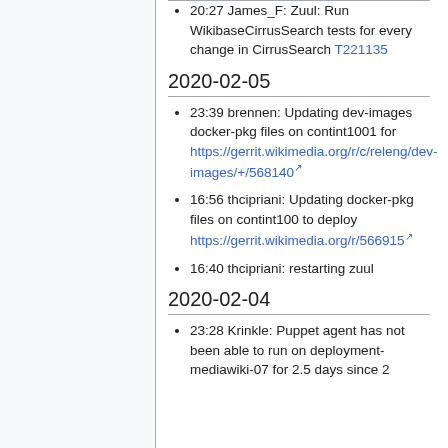20:27 James_F: Zuul: Run WikibaseCirrusSearch tests for every change in CirrusSearch T221135
2020-02-05
23:39 brennen: Updating dev-images docker-pkg files on contint1001 for https://gerrit.wikimedia.org/r/c/releng/dev-images/+/568140
16:56 thcipriani: Updating docker-pkg files on contint100 to deploy https://gerrit.wikimedia.org/r/566915
16:40 thcipriani: restarting zuul
2020-02-04
23:28 Krinkle: Puppet agent has not been able to run on deployment-mediawiki-07 for 2.5 days since 2